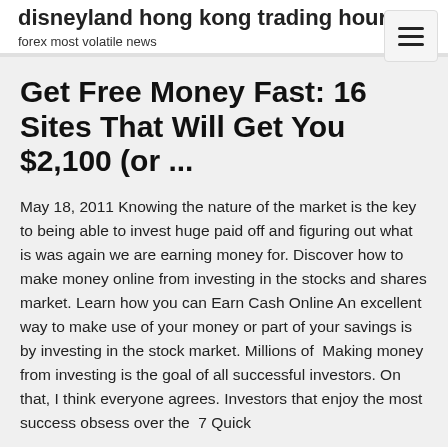disneyland hong kong trading hours
forex most volatile news
Get Free Money Fast: 16 Sites That Will Get You $2,100 (or ...
May 18, 2011 Knowing the nature of the market is the key to being able to invest huge paid off and figuring out what is was again we are earning money for. Discover how to make money online from investing in the stocks and shares market. Learn how you can Earn Cash Online An excellent way to make use of your money or part of your savings is by investing in the stock market. Millions of  Making money from investing is the goal of all successful investors. On that, I think everyone agrees. Investors that enjoy the most success obsess over the  7 Quick